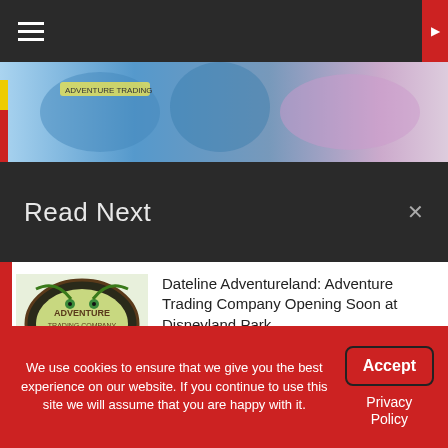☰
[Figure (photo): Banner strip with Disney merchandise/characters in blue and pink tones]
Read Next
[Figure (illustration): Adventure Trading Company logo — tiki face on oval badge with tropical palm trees]
Dateline Adventureland: Adventure Trading Company Opening Soon at Disneyland Park
July 19, 2014   0
[Figure (photo): Today In Disney History graphic with text 'TODAY, IN DISNEY HISTORY... Jul 1 1988' over castle background]
Today In Disney History ~ July 1st
We use cookies to ensure that we give you the best experience on our website. If you continue to use this site we will assume that you are happy with it.
Accept
Privacy Policy